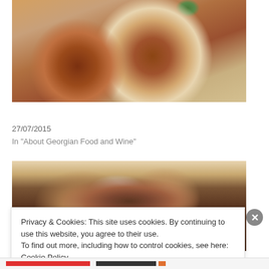[Figure (photo): Top-down view of a clay pot filled with cold matsoni soup with herbs and a clay lid beside it on a wooden surface]
About Food – Cold Matsoni Soup with Herbs
27/07/2015
In "About Georgian Food and Wine"
[Figure (photo): Grilled meat pieces with sliced red onion rings and herbs served on flatbread on a dark surface]
Privacy & Cookies: This site uses cookies. By continuing to use this website, you agree to their use.
To find out more, including how to control cookies, see here: Cookie Policy
Close and accept